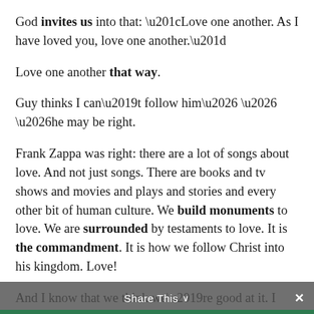God invites us into that: “Love one another. As I have loved you, love one another.”
Love one another that way.
Guy thinks I can’t follow him… … …he may be right.
Frank Zappa was right: there are a lot of songs about love. And not just songs. There are books and tv shows and movies and plays and stories and every other bit of human culture. We build monuments to love. We are surrounded by testaments to love. It is the commandment. It is how we follow Christ into his kingdom. Love!
And I know that we think we’re good at it. I know that I think I’m good at it. But…
Share This ∨